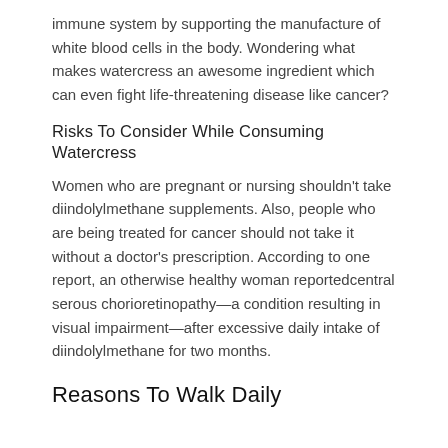immune system by supporting the manufacture of white blood cells in the body. Wondering what makes watercress an awesome ingredient which can even fight life-threatening disease like cancer?
Risks To Consider While Consuming Watercress
Women who are pregnant or nursing shouldn't take diindolylmethane supplements. Also, people who are being treated for cancer should not take it without a doctor's prescription. According to one report, an otherwise healthy woman reportedcentral serous chorioretinopathy—a condition resulting in visual impairment—after excessive daily intake of diindolylmethane for two months.
Reasons To Walk Daily